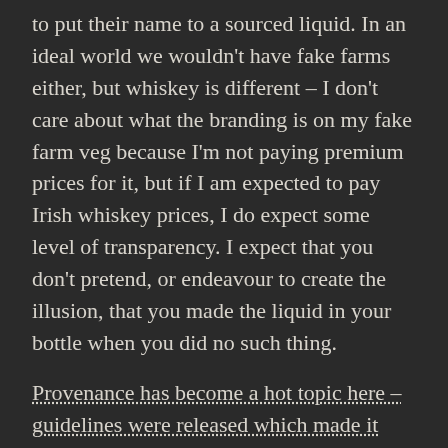to put their name to a sourced liquid. In an ideal world we wouldn't have fake farms either, but whiskey is different – I don't care about what the branding is on my fake farm veg because I'm not paying premium prices for it, but if I am expected to pay Irish whiskey prices, I do expect some level of transparency. I expect that you don't pretend, or endeavour to create the illusion, that you made the liquid in your bottle when you did no such thing.
Provenance has become a hot topic here – guidelines were released which made it clear what could and could not be printed on a label.